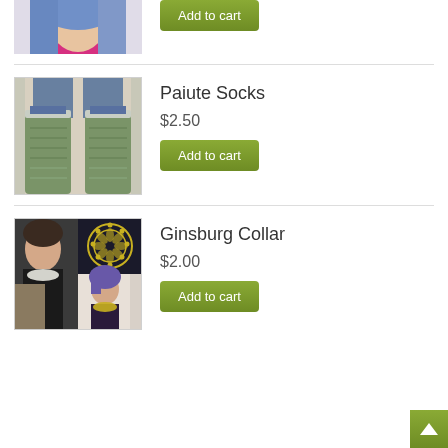[Figure (photo): Partial view of a woman with blue/purple hair wearing a pink top, cropped to show only head/shoulders]
[Figure (other): Green 'Add to cart' button at top of page (partial product)]
[Figure (photo): Green knit socks (Paiute Socks product image)]
Paiute Socks
$2.50
[Figure (other): Add to cart button for Paiute Socks]
[Figure (photo): Ginsburg Collar product image collage: woman with short hair wearing white collar necklace, woman with purple hair wearing yellow peter pan collar]
Ginsburg Collar
$2.00
[Figure (other): Add to cart button for Ginsburg Collar]
[Figure (other): Back to top arrow button (olive/green)]